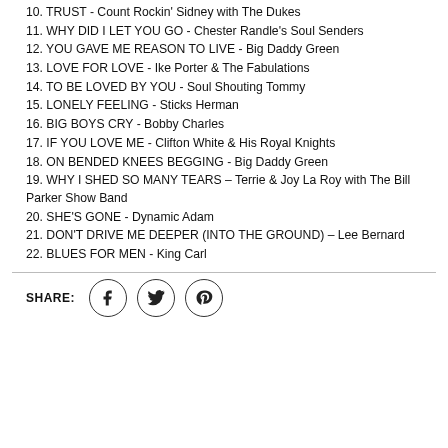10. TRUST - Count Rockin' Sidney with The Dukes
11. WHY DID I LET YOU GO - Chester Randle's Soul Senders
12. YOU GAVE ME REASON TO LIVE - Big Daddy Green
13. LOVE FOR LOVE - Ike Porter & The Fabulations
14. TO BE LOVED BY YOU - Soul Shouting Tommy
15. LONELY FEELING - Sticks Herman
16. BIG BOYS CRY - Bobby Charles
17. IF YOU LOVE ME - Clifton White & His Royal Knights
18. ON BENDED KNEES BEGGING - Big Daddy Green
19. WHY I SHED SO MANY TEARS – Terrie & Joy La Roy with The Bill Parker Show Band
20. SHE'S GONE - Dynamic Adam
21. DON'T DRIVE ME DEEPER (INTO THE GROUND) – Lee Bernard
22. BLUES FOR MEN - King Carl
[Figure (infographic): Share row with Facebook, Twitter, and Pinterest icon buttons]